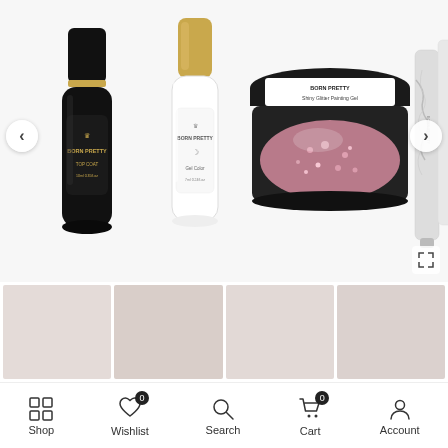[Figure (photo): Product carousel showing Born Pretty nail gel polish set items: black top coat bottle, white gel color bottle, rose glitter painting gel jar, and marble nail art pen. Navigation arrows on left and right. Expand icon bottom right.]
[Figure (photo): Four thumbnail swatches below main image showing nail color swatches in muted rose/blush tones.]
Instagram Rose Shiny Glitter Ombre Nails Gel Polish 8Pcs/Set
Shop  Wishlist  Search  Cart  Account